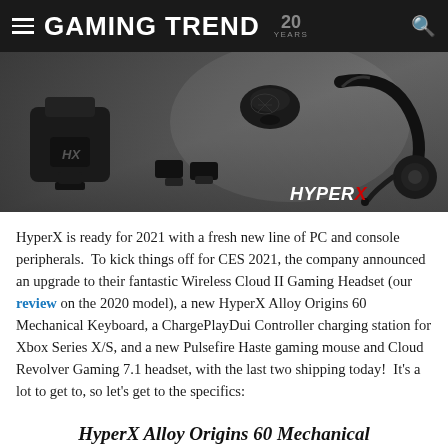GAMING TREND 20 YEARS
[Figure (photo): HyperX gaming peripherals product banner showing a controller charging dock, gaming mouse, headset, and keyboard accessories against a grey background with HyperX logo]
HyperX is ready for 2021 with a fresh new line of PC and console peripherals.  To kick things off for CES 2021, the company announced an upgrade to their fantastic Wireless Cloud II Gaming Headset (our review on the 2020 model), a new HyperX Alloy Origins 60 Mechanical Keyboard, a ChargePlayDui Controller charging station for Xbox Series X/S, and a new Pulsefire Haste gaming mouse and Cloud Revolver Gaming 7.1 headset, with the last two shipping today!  It's a lot to get to, so let's get to the specifics:
HyperX Alloy Origins 60 Mechanical